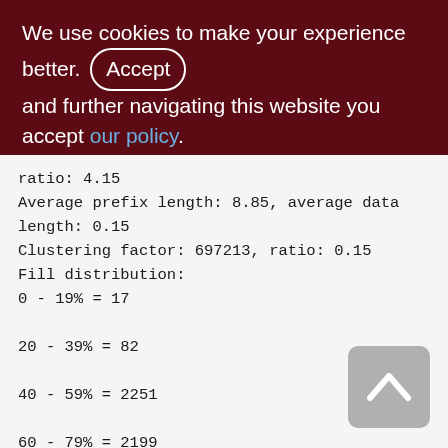We use cookies to make your experience better. By accepting and further navigating this website you accept our policy.
ratio: 4.15
Average prefix length: 8.85, average data length: 0.15
Clustering factor: 697213, ratio: 0.15
Fill distribution:
0 - 19% = 17
20 - 39% = 82
40 - 59% = 2251
60 - 79% = 2199
80 - 99% = 360

Index XQS_1000_1200_RCV_ID (2)